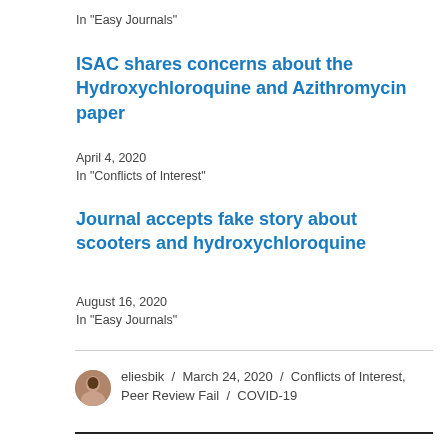In "Easy Journals"
ISAC shares concerns about the Hydroxychloroquine and Azithromycin paper
April 4, 2020
In "Conflicts of Interest"
Journal accepts fake story about scooters and hydroxychloroquine
August 16, 2020
In "Easy Journals"
eliesbik / March 24, 2020 / Conflicts of Interest, Peer Review Fail / COVID-19